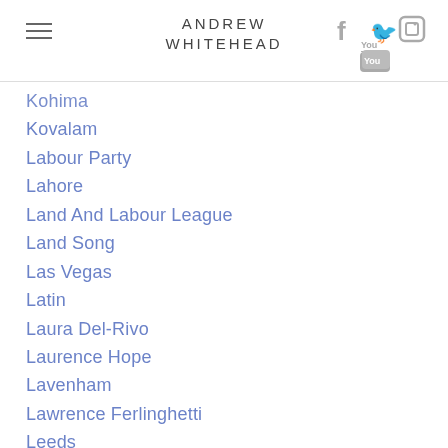ANDREW WHITEHEAD
Kohima
Kovalam
Labour Party
Lahore
Land And Labour League
Land Song
Las Vegas
Latin
Laura Del-Rivo
Laurence Hope
Lavenham
Lawrence Ferlinghetti
Leeds
Leeds Postcards
Leicester
Leonard Motler
Leyton Orient